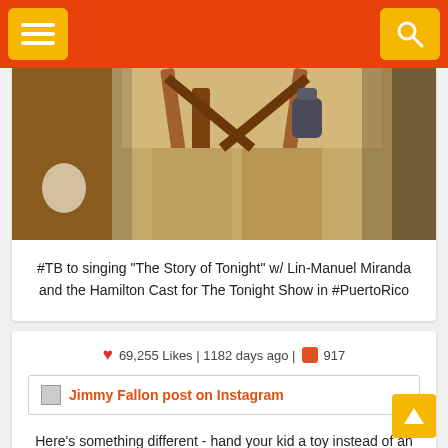Navigation header with menu and search buttons
[Figure (photo): Close-up photo of people wearing colonial-era tan/khaki breeches and brown leather suspenders/belts, likely Hamilton cast costumes]
#TB to singing “The Story of Tonight” w/ Lin-Manuel Miranda and the Hamilton Cast for The Tonight Show in #PuertoRico
69,255 Likes | 1182 days ago | 917
[Figure (screenshot): Jimmy Fallon post on Instagram link/image placeholder]
Here’s something different - hand your kid a toy instead of an iPad. New @mudpuppykids puzzles and flash cards!! #SupportYourLocalToyStore
377,998 Likes | 1184 days ago | 5,845